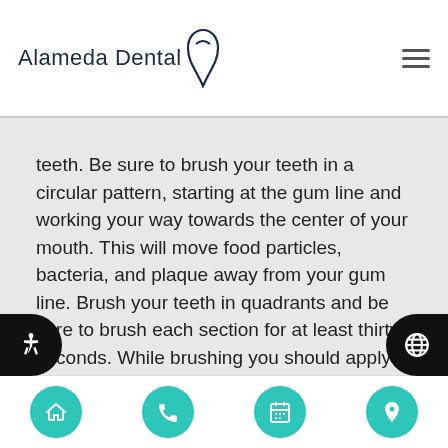Alameda Dental
teeth. Be sure to brush your teeth in a circular pattern, starting at the gum line and working your way towards the center of your mouth. This will move food particles, bacteria, and plaque away from your gum line. Brush your teeth in quadrants and be sure to brush each section for at least thirty seconds. While brushing you should apply even pressure but not be too aggressive. You should also use fluoride toothpaste since this will provide additional protection from cavities. We recommend that you brush three times a day – morning, after lunch, and before bed. This will keep your mouth clean without causing
Navigation: Home, Phone, Calendar, Location